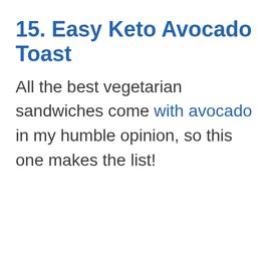15. Easy Keto Avocado Toast
All the best vegetarian sandwiches come with avocado in my humble opinion, so this one makes the list!